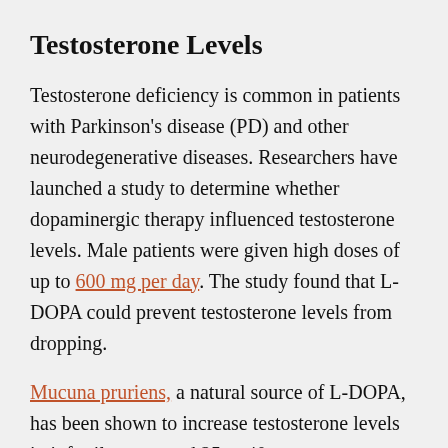Testosterone Levels
Testosterone deficiency is common in patients with Parkinson's disease (PD) and other neurodegenerative diseases. Researchers have launched a study to determine whether dopaminergic therapy influenced testosterone levels. Male patients were given high doses of up to 600 mg per day. The study found that L-DOPA could prevent testosterone levels from dropping.
Mucuna pruriens, a natural source of L-DOPA, has been shown to increase testosterone levels in infertile men aged 25 to 40.